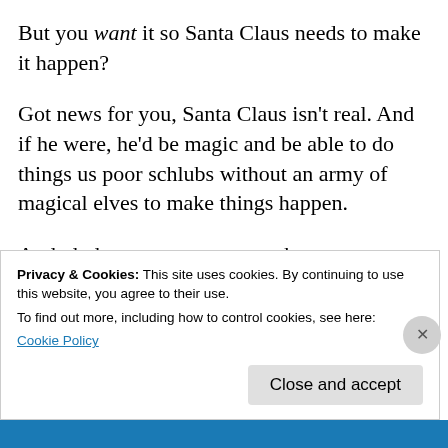But you want it so Santa Claus needs to make it happen?
Got news for you, Santa Claus isn’t real. And if he were, he’d be magic and be able to do things us poor schlubs without an army of magical elves to make things happen.
And, dude, use some paragraphs.
★ Like
Privacy & Cookies: This site uses cookies. By continuing to use this website, you agree to their use.
To find out more, including how to control cookies, see here:
Cookie Policy
Close and accept